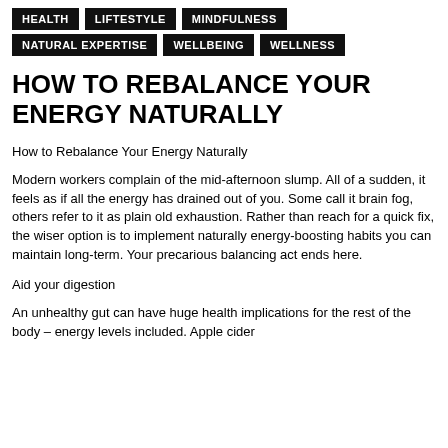HEALTH   LIFTESTYLE   MINDFULNESS
NATURAL EXPERTISE   WELLBEING   WELLNESS
HOW TO REBALANCE YOUR ENERGY NATURALLY
How to Rebalance Your Energy Naturally
Modern workers complain of the mid-afternoon slump. All of a sudden, it feels as if all the energy has drained out of you. Some call it brain fog, others refer to it as plain old exhaustion. Rather than reach for a quick fix, the wiser option is to implement naturally energy-boosting habits you can maintain long-term. Your precarious balancing act ends here.
Aid your digestion
An unhealthy gut can have huge health implications for the rest of the body – energy levels included. Apple cider